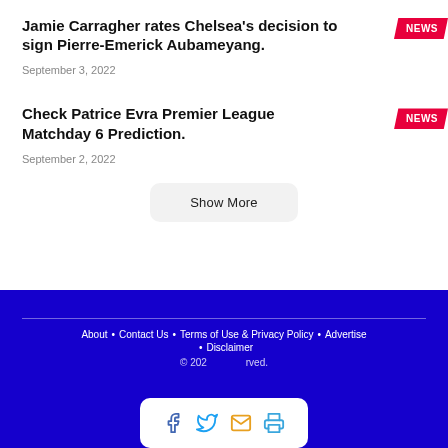Jamie Carragher rates Chelsea's decision to sign Pierre-Emerick Aubameyang.
September 3, 2022
Check Patrice Evra Premier League Matchday 6 Prediction.
September 2, 2022
Show More
About • Contact Us • Terms of Use & Privacy Policy • Advertise • Disclaimer © 2022 All rights reserved.